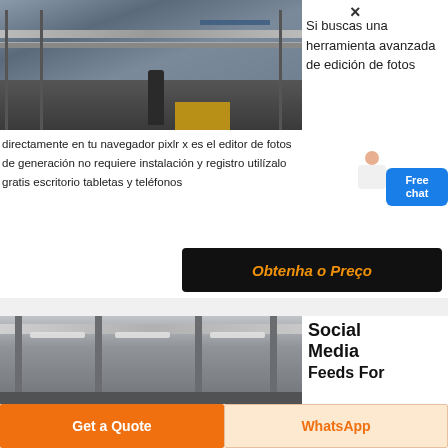[Figure (photo): Industrial facility/construction site with steel structure, railings, pipe, and yellow flooring]
×
Si buscas una herramienta avanzada de edición de fotos
[Figure (illustration): Free chat widget with woman figure and blue button labeled 'Free chat']
directamente en tu navegador pixlr x es el editor de fotos de generación no requiere instalación y registro utilízalo gratis escritorio tabletas y teléfonos
Obtenha o Preço
[Figure (photo): Interior of large industrial warehouse with steel columns and ceiling lights]
Social Media Feeds For
Get a Quote
WhatsApp